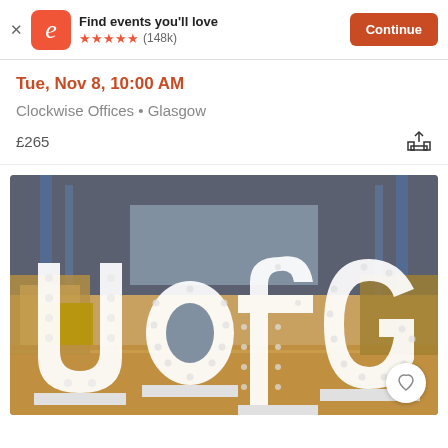Find events you'll love ★★★★★ (148k) Continue
Tue, Nov 8, 10:00 AM
Clockwise Offices • Glasgow
£265
[Figure (photo): Large illuminated 3D letters spelling 'UofG' displayed on a wooden floor inside a museum or exhibition hall with glass display cases and high ceilings in the background.]